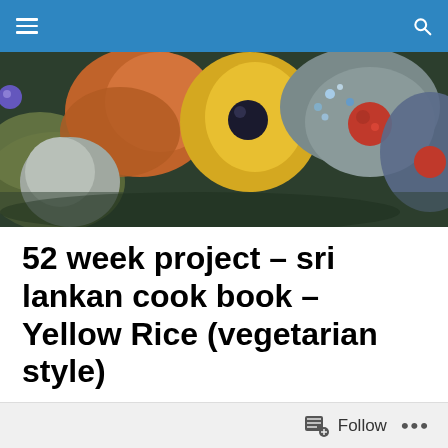Navigation bar with hamburger menu and search icon
[Figure (photo): Close-up photo of colorful decorative fabric flowers and brooches with jeweled centers in orange, yellow, teal, grey, and red colors against a dark background]
52 week project – sri lankan cook book – Yellow Rice (vegetarian style)
A project I have been wanting to work on for ages has been to collect my mums Sri Lankan recipes and then make a book of them. So now I have a Sri Lankan
Follow ...